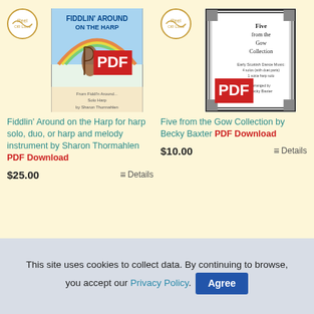[Figure (illustration): Product listing for 'Fiddlin' Around on the Harp' book with PDF badge and Reel OR Love logo]
Fiddlin' Around on the Harp for harp solo, duo, or harp and melody instrument by Sharon Thormahlen PDF Download
$25.00  Details
[Figure (illustration): Product listing for 'Five from the Gow Collection' book with PDF badge and Reel OR Love logo]
Five from the Gow Collection by Becky Baxter PDF Download
$10.00  Details
This site uses cookies to collect data. By continuing to browse, you accept our Privacy Policy.  Agree